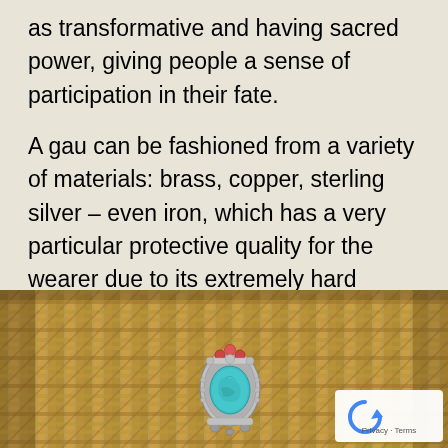as transformative and having sacred power, giving people a sense of participation in their fate.
A gau can be fashioned from a variety of materials: brass, copper, sterling silver – even iron, which has a very particular protective quality for the wearer due to its extremely hard nature. The box might also be made of mixed metal, and ornamented with gold plating.
[Figure (photo): A small decorative gau (Tibetan amulet box) with turquoise and red stones set in silver metal, placed on a woven wicker/rattan surface. A reCAPTCHA privacy badge is overlaid in the bottom-right corner.]